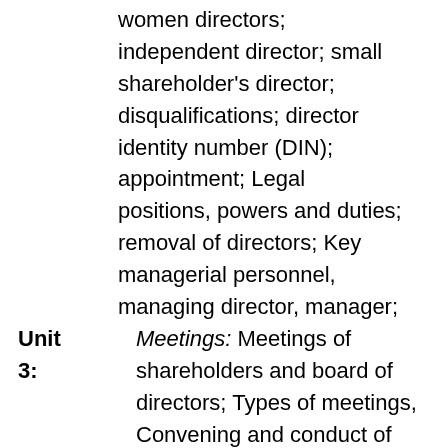women directors; independent director; small shareholder's director; disqualifications; director identity number (DIN); appointment; Legal positions, powers and duties; removal of directors; Key managerial personnel, managing director, manager;
Unit 3: Meetings: Meetings of shareholders and board of directors; Types of meetings, Convening and conduct of meetings, Requisites of a